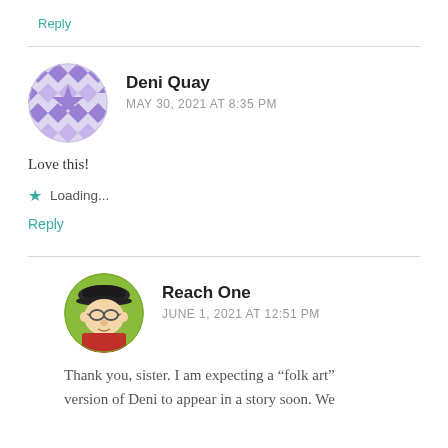Reply
Deni Quay
MAY 30, 2021 AT 8:35 PM
[Figure (illustration): Purple geometric pattern avatar for user Deni Quay, circular shape with diamond/star tile pattern in purple and white]
Love this!
Loading...
Reply
[Figure (illustration): Circular avatar for user Reach One showing a cartoon elderly man with glasses, beret, wearing a red shirt, on a green/yellow background]
Reach One
JUNE 1, 2021 AT 12:51 PM
Thank you, sister. I am expecting a “folk art” version of Deni to appear in a story soon. We